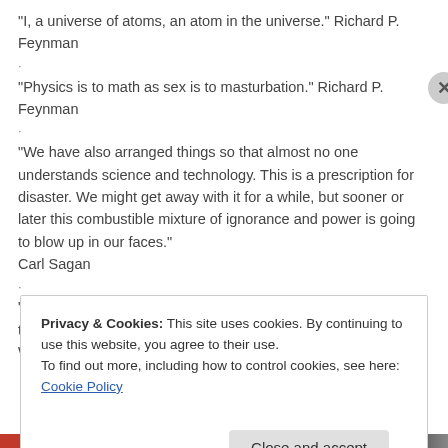"I, a universe of atoms, an atom in the universe." Richard P. Feynman
.
"Physics is to math as sex is to masturbation." Richard P. Feynman
.
"We have also arranged things so that almost no one understands science and technology. This is a prescription for disaster. We might get away with it for a while, but sooner or later this combustible mixture of ignorance and power is going to blow up in our faces."
Carl Sagan
.
"Science is so powerful that it drags us kicking and screaming towards the truth despite our best efforts to avoid it." Peter Watts
Privacy & Cookies: This site uses cookies. By continuing to use this website, you agree to their use.
To find out more, including how to control cookies, see here: Cookie Policy
Close and accept